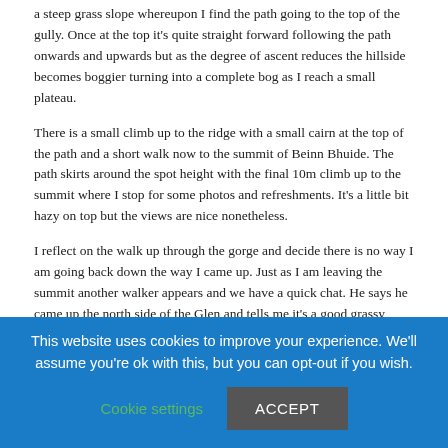a steep grass slope whereupon I find the path going to the top of the gully. Once at the top it's quite straight forward following the path onwards and upwards but as the degree of ascent reduces the hillside becomes boggier turning into a complete bog as I reach a small plateau.
There is a small climb up to the ridge with a small cairn at the top of the path and a short walk now to the summit of Beinn Bhuide. The path skirts around the spot height with the final 10m climb up to the summit where I stop for some photos and refreshments. It's a little bit hazy on top but the views are nice nonetheless.
I reflect on the walk up through the gorge and decide there is no way I am going back down the way I came up. Just as I am leaving the summit another walker appears and we have a quick chat. He says he came up the north side of the Glen and tells me it's a good grassy hillside with no issues. He asks me about the south side down the gorge and I explain the problems and advise him not to go down that way.
So it's a different way down for me. Basically I head back the way I came from the summit and reach the small cairn marking the ascent path. I decide to continue along the top for another 100m and then start to descend. There is no proper path but there are signs of Deer tracks here and there as I descend the hillside. I met
This website uses cookies to improve your experience. We'll assume you're ok with this, but you can opt-out if you wish.